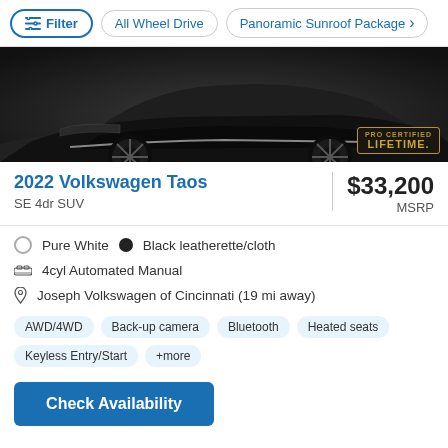Filter | All Wheel Drive | Panoramic Sunroof Package
[Figure (photo): Front-lower view of a black Volkswagen Taos SUV with PRO CERTIFIED LIFETIME badge in corner]
2022 Volkswagen Taos
SE 4dr SUV
$33,200 MSRP
Pure White   Black leatherette/cloth
4cyl Automated Manual
Joseph Volkswagen of Cincinnati (19 mi away)
AWD/4WD
Back-up camera
Bluetooth
Heated seats
Keyless Entry/Start
+more
Check Availability